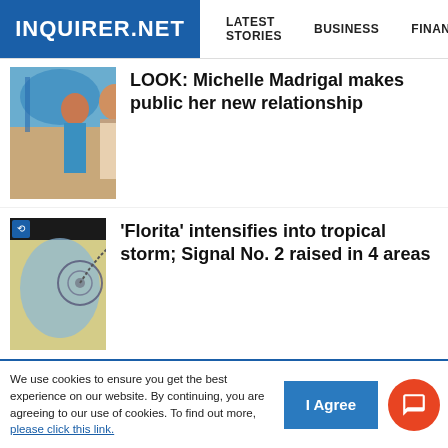INQUIRER.NET — LATEST STORIES | BUSINESS | FINANCE | TECHNOLO
LOOK: Michelle Madrigal makes public her new relationship
'Florita' intensifies into tropical storm; Signal No. 2 raised in 4 areas
PBA stands by decision on Jayson Castro buzzer-beater
Japeth Aguilar leads PBA cast bolstering Gilas Pilipinas roster vs Lebanon
We use cookies to ensure you get the best experience on our website. By continuing, you are agreeing to our use of cookies. To find out more, please click this link.